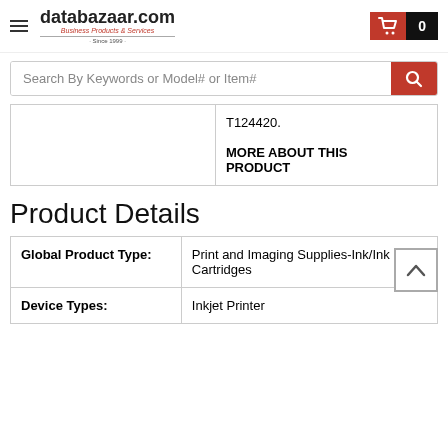databazaar.com — Business Products & Services · Since 1999
Search By Keywords or Model# or Item#
|  | T124420.

MORE ABOUT THIS PRODUCT |
Product Details
| Global Product Type: | Print and Imaging Supplies-Ink/Ink Cartridges |
| Device Types: | Inkjet Printer |